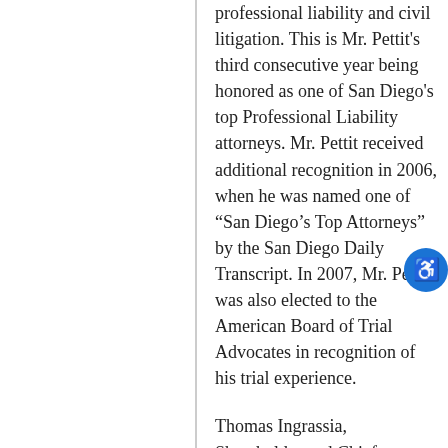professional liability and civil litigation. This is Mr. Pettit's third consecutive year being honored as one of San Diego's top Professional Liability attorneys. Mr. Pettit received additional recognition in 2006, when he was named one of “San Diego’s Top Attorneys” by the San Diego Daily Transcript. In 2007, Mr. Pettit was also elected to the American Board of Trial Advocates in recognition of his trial experience.
Thomas Ingrassia, Shareholder and Chief Financial Officer, is recognized for the second year in a row as one of the San Diego’s top Labor and Employment attorneys. Mr. Ingrassia defends employers in all forms of employment disputes and regularly counsels and